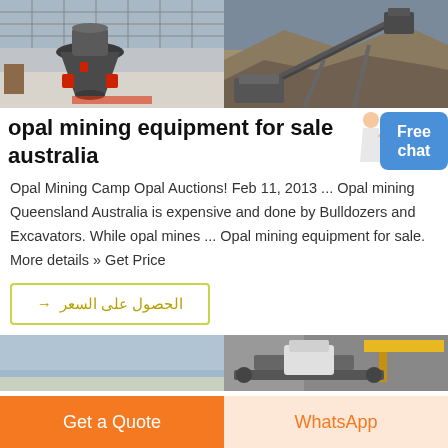[Figure (photo): Two mining equipment photos side by side: left shows a cone crusher in an industrial warehouse; right shows an outdoor crushing/screening plant on rocky terrain.]
opal mining equipment for sale australia
Opal Mining Camp Opal Auctions! Feb 11, 2013 ... Opal mining Queensland Australia is expensive and done by Bulldozers and Excavators. While opal mines ... Opal mining equipment for sale. More details » Get Price
الحصول على السعر ←
[Figure (photo): Two photos side by side at bottom: left shows a sky/outdoor scene, right shows industrial conveyor/crane equipment in a factory.]
Get a Quote
WhatsApp